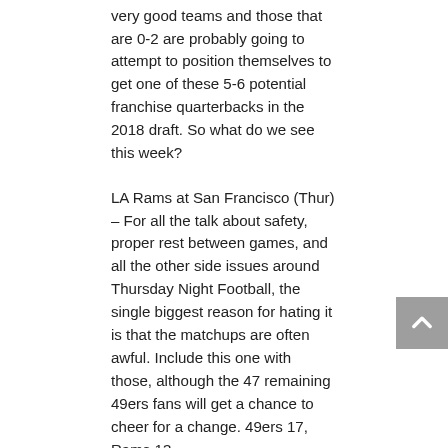very good teams and those that are 0-2 are probably going to attempt to position themselves to get one of these 5-6 potential franchise quarterbacks in the 2018 draft. So what do we see this week?
LA Rams at San Francisco (Thur) – For all the talk about safety, proper rest between games, and all the other side issues around Thursday Night Football, the single biggest reason for hating it is that the matchups are often awful. Include this one with those, although the 47 remaining 49ers fans will get a chance to cheer for a change. 49ers 17, Rams 13
Baltimore at Jacksonville – At the risk of overreacting, I'm going to say the week 2 Jags are closer to the real thing than the week 1 Jags, at least against this defense. Ravens 23, Jags 3
NY Giants at Philadelphia – The race is on to see which New York team can suck the most. I hate NY bias so I